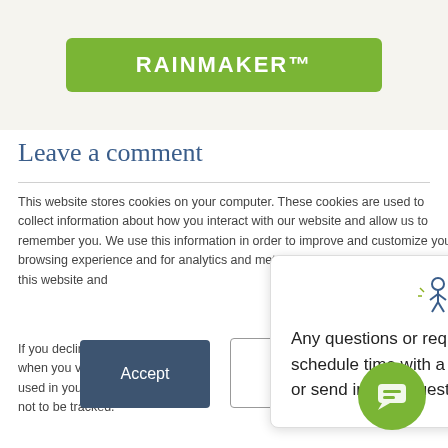[Figure (screenshot): Green RAINMAKER™ button on beige background]
Leave a comment
This website stores cookies on your computer. These cookies are used to collect information about how you interact with our website and allow us to remember you. We use this information in order to improve and customize your browsing experience and for analytics and metrics about our visitors both on this website and the cookies we use,
If you decline, your i when you visit this w used in your browse not to be tracked.
[Figure (screenshot): Chat popup with logo: Any questions or requests? I can schedule time with a human right now, or send in your question!]
Any questions or requests? I can schedule time with a human right now, or send in your question!
[Figure (screenshot): Accept and Decline cookie consent buttons, and green chat bubble button]